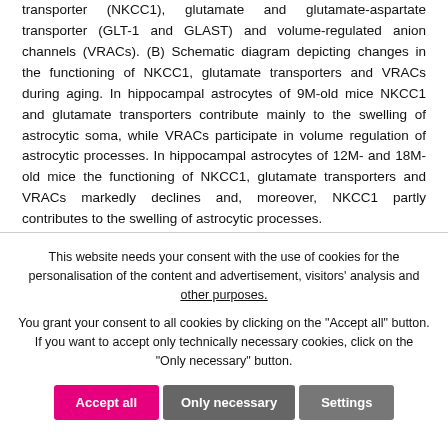transporter (NKCC1), glutamate and glutamate-aspartate transporter (GLT-1 and GLAST) and volume-regulated anion channels (VRACs). (B) Schematic diagram depicting changes in the functioning of NKCC1, glutamate transporters and VRACs during aging. In hippocampal astrocytes of 9M-old mice NKCC1 and glutamate transporters contribute mainly to the swelling of astrocytic soma, while VRACs participate in volume regulation of astrocytic processes. In hippocampal astrocytes of 12M- and 18M-old mice the functioning of NKCC1, glutamate transporters and VRACs markedly declines and, moreover, NKCC1 partly contributes to the swelling of astrocytic processes.
This website needs your consent with the use of cookies for the personalisation of the content and advertisement, visitors' analysis and other purposes. You grant your consent to all cookies by clicking on the "Accept all" button. If you want to accept only technically necessary cookies, click on the "Only necessary" button.